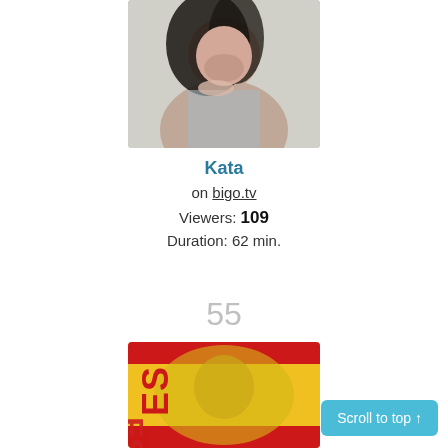[Figure (photo): Profile photo of a young woman with dark hair, wearing a sparkly outfit, looking at the camera]
Kata
on bigo.tv
Viewers: 109
Duration: 62 min.
55
[Figure (photo): Thumbnail image with Spanish flag colors (red and yellow) and the text ESPAÑA overlaid, with a person visible in the background]
Scroll to top ↑